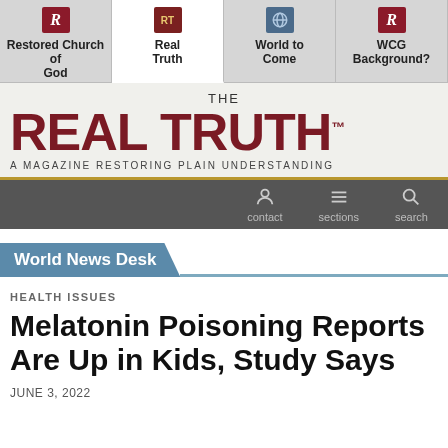[Figure (screenshot): Navigation tab bar with four tabs: Restored Church of God, Real Truth (active), World to Come, WCG Background?]
THE REAL TRUTH™ A MAGAZINE RESTORING PLAIN UNDERSTANDING
[Figure (infographic): Dark grey icon bar with contact, sections, and search icons]
World News Desk
HEALTH ISSUES
Melatonin Poisoning Reports Are Up in Kids, Study Says
JUNE 3, 2022